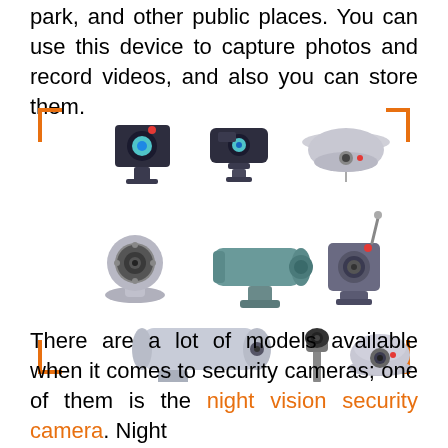park, and other public places. You can use this device to capture photos and record videos, and also you can store them.
[Figure (illustration): Collection of various security camera types: box camera, webcam, dome ceiling camera, PTZ webcam, bullet CCTV camera, small box camera with antenna, large bullet outdoor camera, small pole-mounted camera, and dome ground camera, arranged in a grid with orange corner bracket decorations]
There are a lot of models available when it comes to security cameras; one of them is the night vision security camera. Night